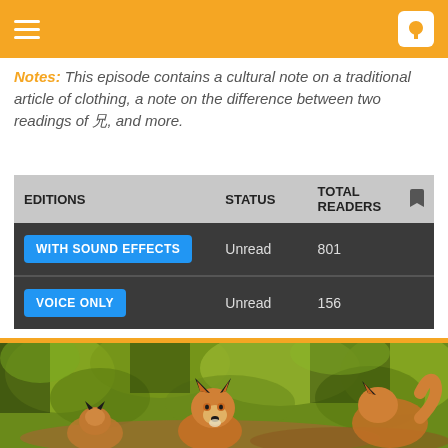Navigation header with hamburger menu and app logo
Notes: This episode contains a cultural note on a traditional article of clothing, a note on the difference between two readings of 兄, and more.
| EDITIONS | STATUS | TOTAL READERS |  |
| --- | --- | --- | --- |
| WITH SOUND EFFECTS | Unread | 801 |  |
| VOICE ONLY | Unread | 156 |  |
[Figure (photo): Illustrated/stylized foxes in a green grassy outdoor setting — two foxes visible, one facing camera in center, another fox on the right side facing away]